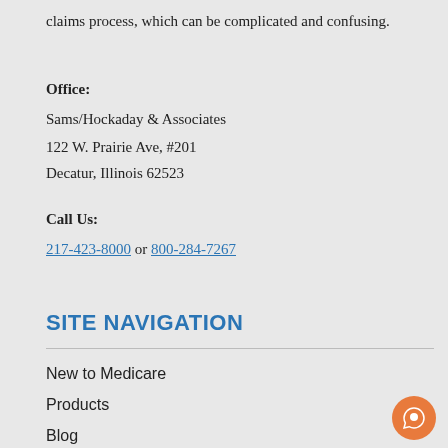claims process, which can be complicated and confusing.
Office:
Sams/Hockaday & Associates
122 W. Prairie Ave, #201
Decatur, Illinois 62523
Call Us:
217-423-8000 or 800-284-7267
SITE NAVIGATION
New to Medicare
Products
Blog